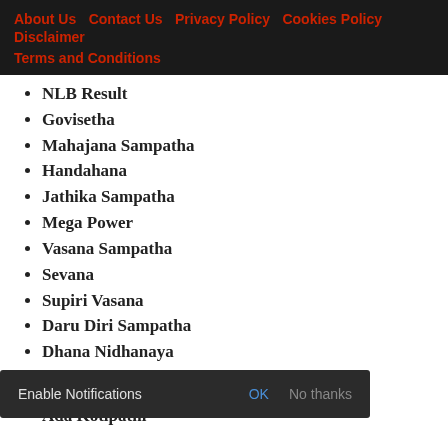About Us  Contact Us  Privacy Policy  Cookies Policy  Disclaimer  Terms and Conditions
NLB Result
Govisetha
Mahajana Sampatha
Handahana
Jathika Sampatha
Mega Power
Vasana Sampatha
Sevana
Supiri Vasana
Daru Diri Sampatha
Dhana Nidhanaya
DLB Result
Ada Kotipathi
Kapruka
[Figure (screenshot): Notification bar with 'Enable Notifications', 'OK' and 'No thanks' buttons on dark background]